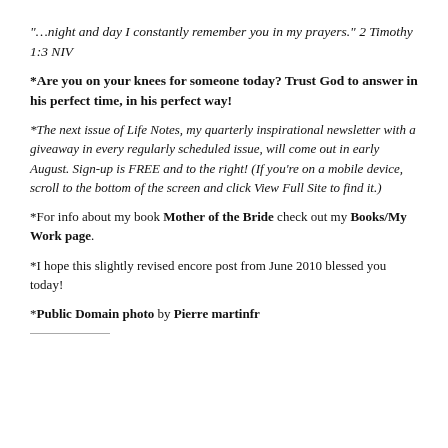“…night and day I constantly remember you in my prayers.” 2 Timothy 1:3 NIV
*Are you on your knees for someone today? Trust God to answer in his perfect time, in his perfect way!
*The next issue of Life Notes, my quarterly inspirational newsletter with a giveaway in every regularly scheduled issue, will come out in early August. Sign-up is FREE and to the right! (If you’re on a mobile device, scroll to the bottom of the screen and click View Full Site to find it.)
*For info about my book Mother of the Bride check out my Books/My Work page.
*I hope this slightly revised encore post from June 2010 blessed you today!
*Public Domain photo by Pierre martinfr